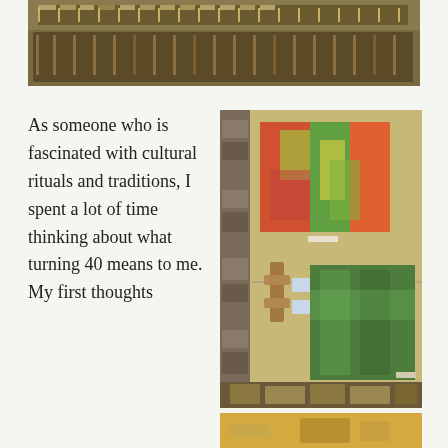[Figure (photo): Interior of a record store with rows of vinyl records in crates and shelves.]
As someone who is fascinated with cultural rituals and traditions, I spent a lot of time thinking about what turning 40 means to me. My first thoughts
[Figure (photo): Art gallery wall showing two abstract paintings — one colorful red/green/yellow canvas above, and one predominantly green canvas below, with wooden display elements and small label cards.]
[Figure (photo): Partial view of a yellow-toned display or artwork at bottom right.]